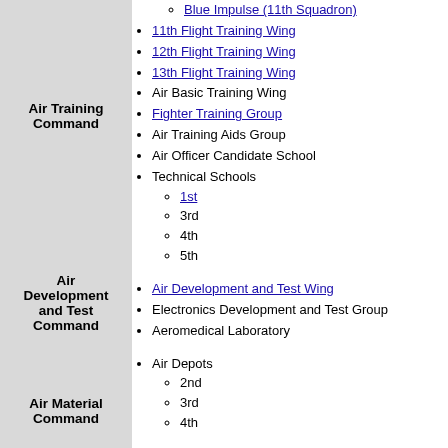Air Training Command
Blue Impulse (11th Squadron)
11th Flight Training Wing
12th Flight Training Wing
13th Flight Training Wing
Air Basic Training Wing
Fighter Training Group
Air Training Aids Group
Air Officer Candidate School
Technical Schools
1st
3rd
4th
5th
Air Development and Test Command
Air Development and Test Wing
Electronics Development and Test Group
Aeromedical Laboratory
Air Material Command
Air Depots
2nd
3rd
4th
Air Communications and System